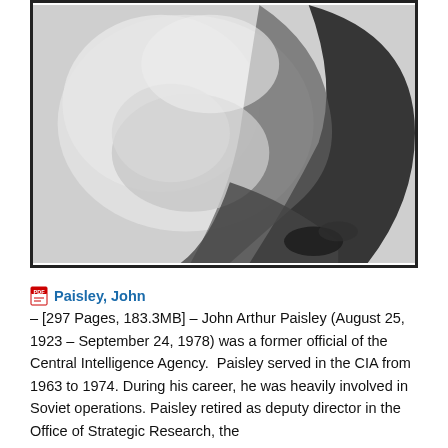[Figure (photo): Black and white photograph, blurry, appears to show a person or animal, cropped closely with high contrast dark and light areas]
Paisley, John – [297 Pages, 183.3MB] – John Arthur Paisley (August 25, 1923 – September 24, 1978) was a former official of the Central Intelligence Agency. Paisley served in the CIA from 1963 to 1974. During his career, he was heavily involved in Soviet operations. Paisley retired as deputy director in the Office of Strategic Research, the